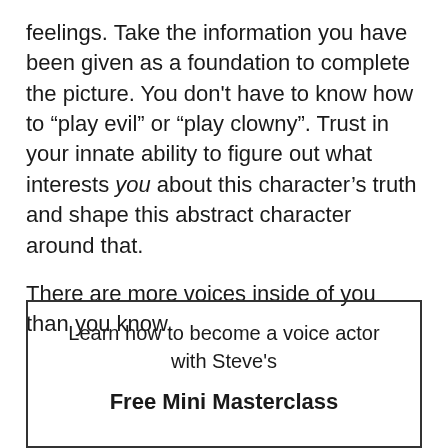feelings. Take the information you have been given as a foundation to complete the picture. You don't have to know how to “play evil” or “play clowny”. Trust in your innate ability to figure out what interests you about this character’s truth and shape this abstract character around that.

There are more voices inside of you than you know.
Learn how to become a voice actor with Steve's

Free Mini Masterclass